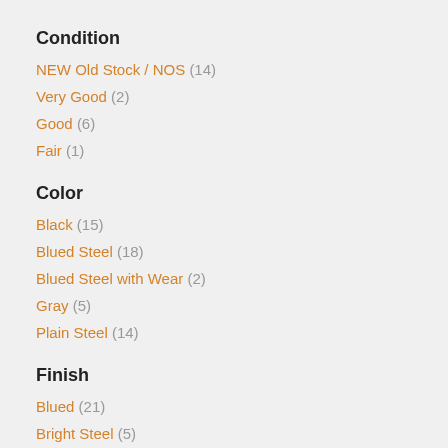Condition
NEW Old Stock / NOS (14)
Very Good (2)
Good (6)
Fair (1)
Color
Black (15)
Blued Steel (18)
Blued Steel with Wear (2)
Gray (5)
Plain Steel (14)
Finish
Blued (21)
Bright Steel (5)
Coated (5)
In The White (3)
Original Finish (9)
Painted (2)